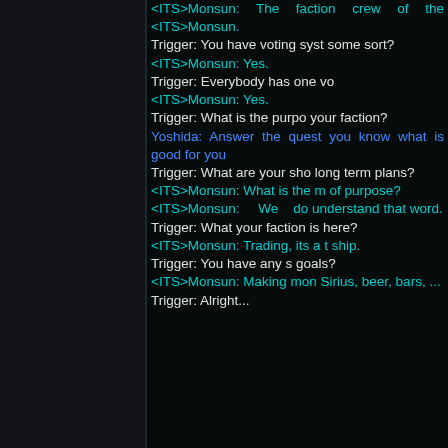<ITS>Monsun: The faction crew of the <ITS>Monsun.
Trigger: You have voting system of some sort?
<ITS>Monsun: Yes.
Trigger: Everybody has one vote?
<ITS>Monsun: Yes.
Trigger: What is the purpose of your faction?
Yoshida: Answer the question if you know what is good for you.
Trigger: What are your short and long term plans?
<ITS>Monsun: What is the meaning of purpose?
<ITS>Monsun: We do not understand that word.
Trigger: What your faction is for here?
<ITS>Monsun: Trading, its a trading ship.
Trigger: You have any specific goals?
<ITS>Monsun: Making money, Sirius, beer, bars, ...
Trigger: Alright...